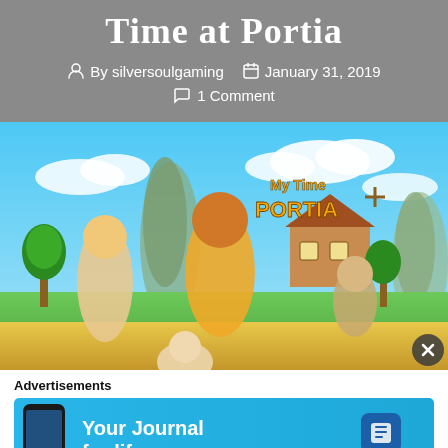Time at Portia
By silversoulgaming   January 31, 2019
1 Comment
[Figure (illustration): My Time at Portia game promotional artwork showing cartoon characters in a colorful outdoor scene with the game logo in the top right corner]
Advertisements
[Figure (screenshot): Day One app advertisement with blue background, phone mockup, text 'Your Journal for life' and Day One logo]